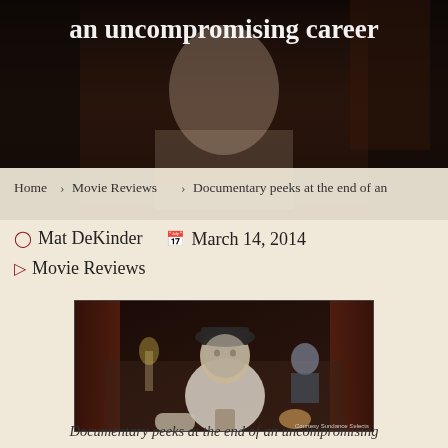an uncompromising career
Home > Movie Reviews > Documentary peeks at the end of an
Mat DeKinder   March 14, 2014
Movie Reviews
[Figure (photo): Elderly woman in a dark hat and white shirt sitting at a table in a richly decorated room, with a man visible in the background. Courtesy Sundance Selects watermark in bottom right.]
Documentary peeks at the end of an uncompromising